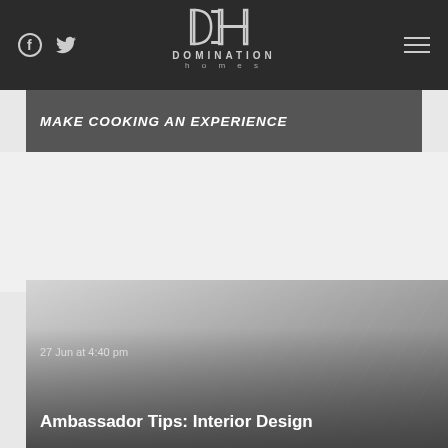Domination Homes — navigation bar with logo, social icons, and hamburger menu
MAKE COOKING AN EXPERIENCE
27 Jun at 4:40 pm
Ambassador Tips: Interior Design